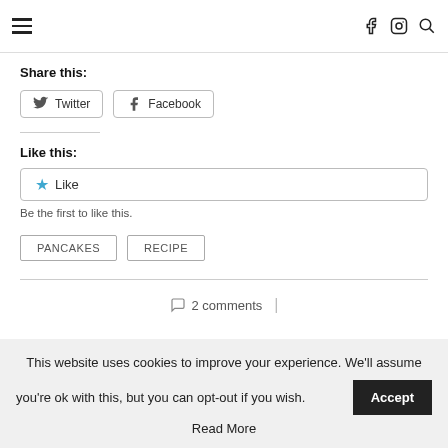Navigation header with hamburger menu and social icons (Facebook, Instagram, Search)
Share this:
Twitter  Facebook
Like this:
Like
Be the first to like this.
PANCAKES  RECIPE
2 comments
This website uses cookies to improve your experience. We'll assume you're ok with this, but you can opt-out if you wish. Accept
Read More